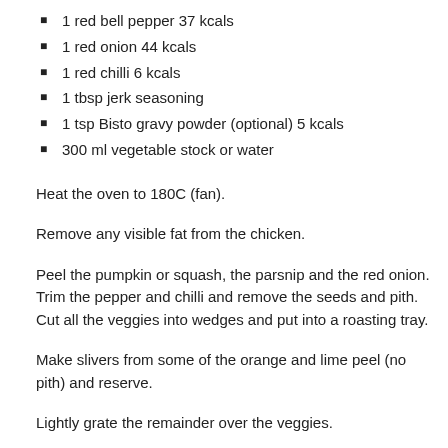1 red bell pepper 37 kcals
1 red onion 44 kcals
1 red chilli 6 kcals
1 tbsp jerk seasoning
1 tsp Bisto gravy powder (optional) 5 kcals
300 ml vegetable stock or water
Heat the oven to 180C (fan).
Remove any visible fat from the chicken.
Peel the pumpkin or squash, the parsnip and the red onion. Trim the pepper and chilli and remove the seeds and pith. Cut all the veggies into wedges and put into a roasting tray.
Make slivers from some of the orange and lime peel (no pith) and reserve.
Lightly grate the remainder over the veggies.